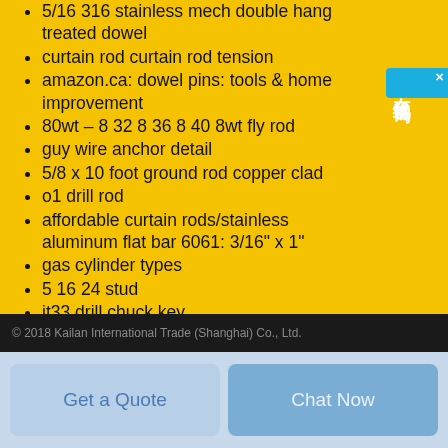5/16 316 stainless mech double hang treated dowel
curtain rod curtain rod tension
amazon.ca: dowel pins: tools & home improvement
80wt – 8 32 8 36 8 40 8wt fly rod
guy wire anchor detail
5/8 x 10 foot ground rod copper clad
o1 drill rod
affordable curtain rods/stainless aluminum flat bar 6061: 3/16" x 1"
gas cylinder types
5 16 24 stud
jt33 drill chuck key
Bing
Google
© 2018 Kailan International Trade (Shanghai) Co., Ltd.
Get a Quote
Chat Now